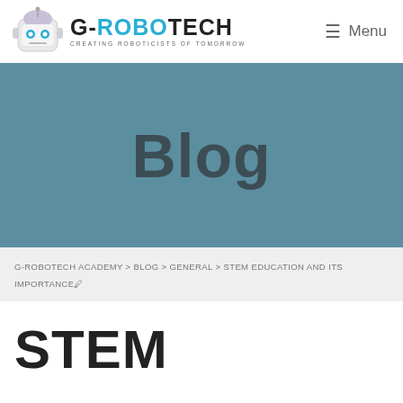G-ROBOTECH — CREATING ROBOTICISTS OF TOMORROW | Menu
[Figure (screenshot): G-Robotech logo: robot cartoon icon with brand name G-ROBOTECH and tagline CREATING ROBOTICISTS OF TOMORROW]
Blog
G-ROBOTECH ACADEMY > BLOG > GENERAL > STEM EDUCATION AND ITS IMPORTANCE
STEM